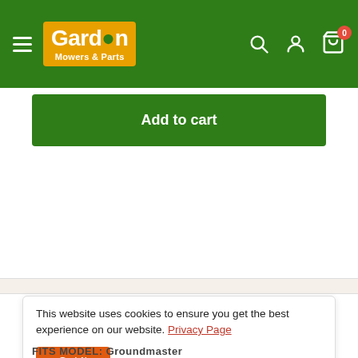[Figure (logo): Gordon Mowers & Parts logo with hamburger menu on green header background, search, account, and cart icons]
Add to cart
Share this product
This website uses cookies to ensure you get the best experience on our website. Privacy Page
Got It
FITS MODEL: Groundmaster